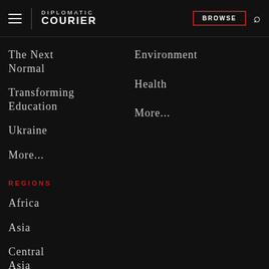DIPLOMATIC COURIER | BROWSE
The Next Normal
Environment
Transforming Education
Health
Ukraine
More...
More...
REGIONS
Africa
Asia
Central Asia
Europe